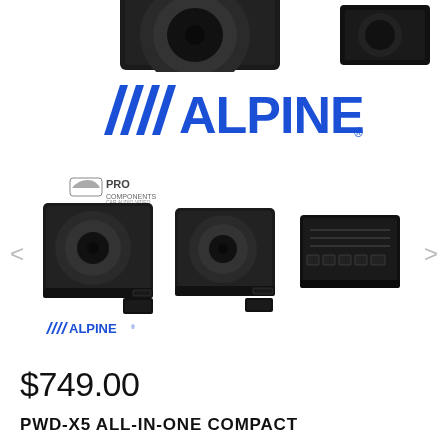[Figure (photo): Top portion of Alpine PWD-X5 subwoofer product images, partially cropped at top of page]
[Figure (logo): Alpine brand logo in blue with slanted lines before ALPINE text]
[Figure (photo): ProComponents car audio logo at upper left of carousel]
[Figure (photo): Carousel of three Alpine PWD-X5 product images with left and right navigation arrows; first shows subwoofer with Alpine logo below, second shows subwoofer at angle, third shows amplifier rear panel]
$749.00
PWD-X5 ALL-IN-ONE COMPACT